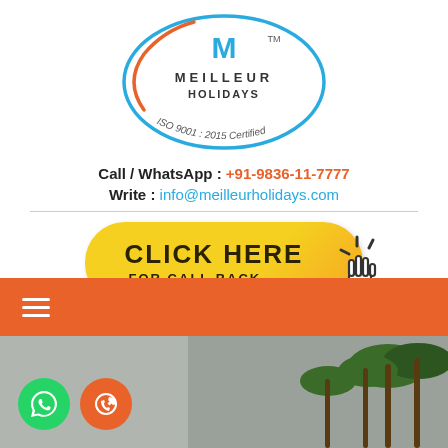[Figure (logo): Meilleur Holidays logo — oval shape with orange and teal outlines, stylized M in teal, text MEILLEUR HOLIDAYS with TM, ISO 9001:2015 Certified]
Call / WhatsApp : +91-9836-11-7777
Write : info@meilleurholidays.com
[Figure (infographic): Yellow rounded button with text CLICK HERE and FOR CALL BACK, with a pointing hand cursor icon]
[Figure (other): Orange navigation bar with white hamburger menu icon]
[Figure (photo): Bottom portion showing gray sky and tropical palm trees on the right, with green WhatsApp circle icon and orange phone circle icon on the left]